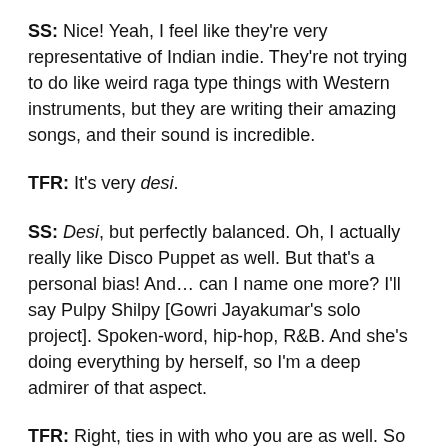SS: Nice! Yeah, I feel like they're very representative of Indian indie. They're not trying to do like weird raga type things with Western instruments, but they are writing their amazing songs, and their sound is incredible.
TFR: It's very desi.
SS: Desi, but perfectly balanced. Oh, I actually really like Disco Puppet as well. But that's a personal bias! And… can I name one more? I'll say Pulpy Shilpy [Gowri Jayakumar's solo project]. Spoken-word, hip-hop, R&B. And she's doing everything by herself, so I'm a deep admirer of that aspect.
TFR: Right, ties in with who you are as well. So moving on, which musician, dead or alive, would you most love to work with?